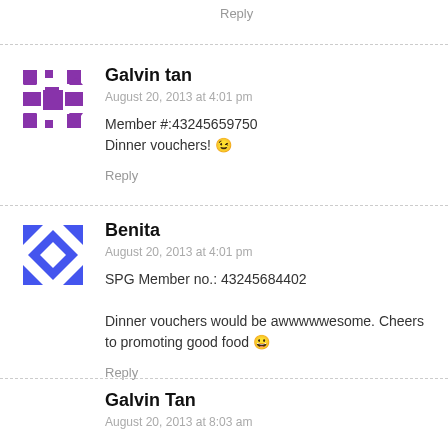Reply
Galvin tan
August 20, 2013 at 4:01 pm
Member #:43245659750
Dinner vouchers! 😉
Reply
Benita
August 20, 2013 at 4:01 pm
SPG Member no.: 43245684402
Dinner vouchers would be awwwwwesome. Cheers to promoting good food 🙂
Reply
Galvin Tan
August 20, 2013 at 8:03 am